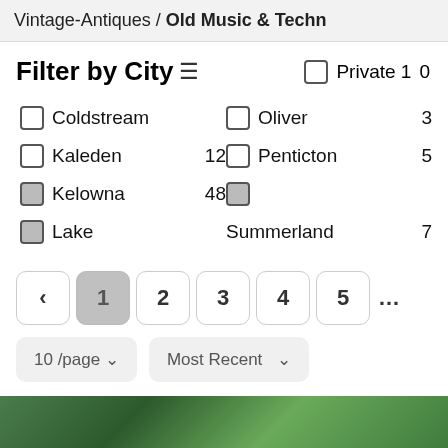Vintage-Antiques / Old Music & Techn
Filter by City ≡
☐ Coldstream
☐ Oliver   3
☐ Kaleden  12
☐ Penticton  5
☑ Kelowna  48
☑ (checkbox filled)
☑ Lake
Summerland  7
☐ Private  10
[Figure (screenshot): Pagination controls: ‹ 1 2 3 4 5 ...]
[Figure (screenshot): Dropdown controls: 10/page and Most Recent]
[Figure (photo): Bottom image strip showing green foliage]